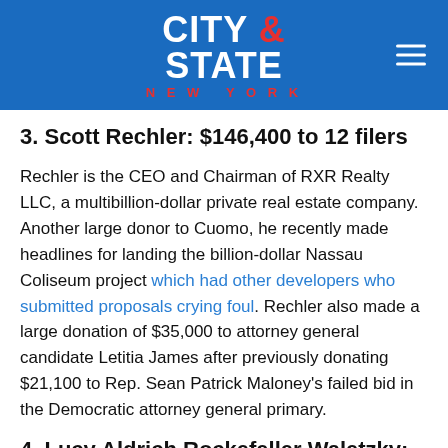CITY & STATE NEW YORK
3. Scott Rechler: $146,400 to 12 filers
Rechler is the CEO and Chairman of RXR Realty LLC, a multibillion-dollar private real estate company. Another large donor to Cuomo, he recently made headlines for landing the billion-dollar Nassau Coliseum project which had other developers who submitted proposals crying foul. Rechler also made a large donation of $35,000 to attorney general candidate Letitia James after previously donating $21,100 to Rep. Sean Patrick Maloney’s failed bid in the Democratic attorney general primary.
4. Lucy Aldrich Rockefeller Waletzky: $139,400